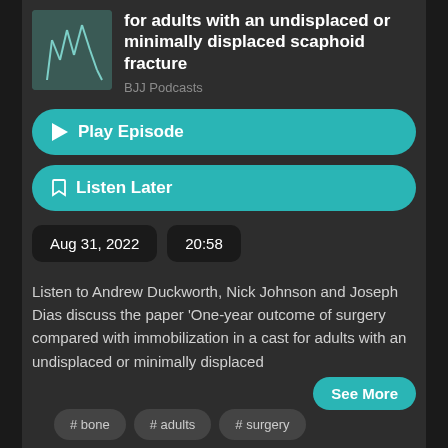for adults with an undisplaced or minimally displaced scaphoid fracture
BJJ Podcasts
▶ Play Episode
☐ Listen Later
Aug 31, 2022
20:58
Listen to Andrew Duckworth, Nick Johnson and Joseph Dias discuss the paper 'One-year outcome of surgery compared with immobilization in a cast for adults with an undisplaced or minimally displaced
See More
# bone   # adults   # surgery